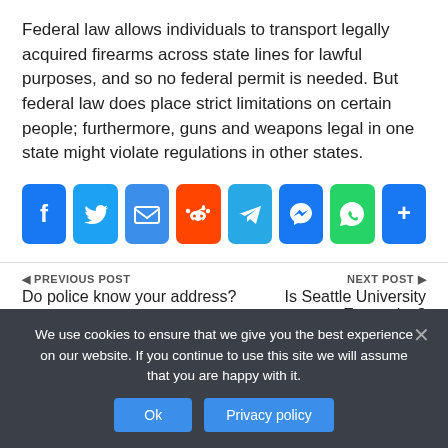Federal law allows individuals to transport legally acquired firearms across state lines for lawful purposes, and so no federal permit is needed. But federal law does place strict limitations on certain people; furthermore, guns and weapons legal in one state might violate regulations in other states.
[Figure (infographic): Social share buttons row: Facebook, Twitter, Email, Reddit, Telegram, Messenger, WhatsApp, Share/More]
◄ PREVIOUS POST
Do police know your address?
NEXT POST ►
Is Seattle University Expensive?
We use cookies to ensure that we give you the best experience on our website. If you continue to use this site we will assume that you are happy with it.
Ok   Privacy policy